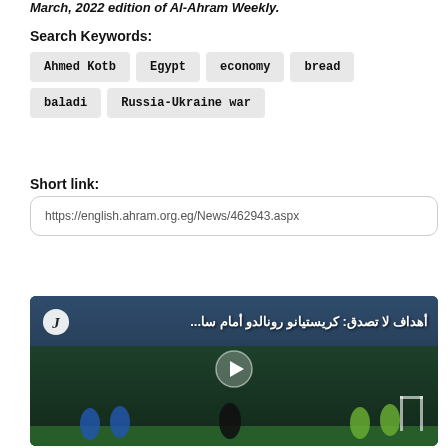March, 2022 edition of Al-Ahram Weekly.
Search Keywords:
Ahmed Kotb
Egypt
economy
bread
baladi
Russia-Ukraine war
Short link:
https://english.ahram.org.eg/News/462943.aspx
[Figure (screenshot): Video thumbnail showing a soccer/football match with Arabic text overlay reading 'أهداف لا تصدق: كريستيانو رونالدو أمام سا...' and a play button in the center. Juventus logo visible in top-left corner.]